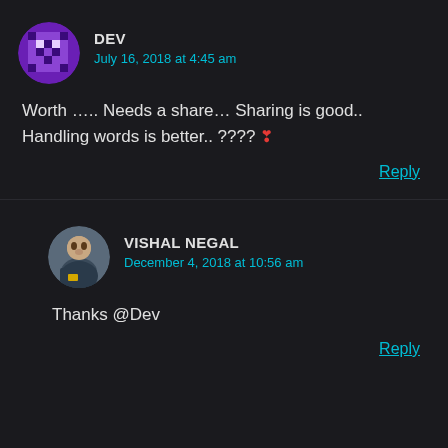[Figure (illustration): Purple pixel-art avatar for user DEV]
DEV
July 16, 2018 at 4:45 am
Worth ….. Needs a share… Sharing is good.. Handling words is better.. ???? ❣
Reply
[Figure (photo): Photo avatar of Vishal Negal, a young man]
VISHAL NEGAL
December 4, 2018 at 10:56 am
Thanks @Dev
Reply